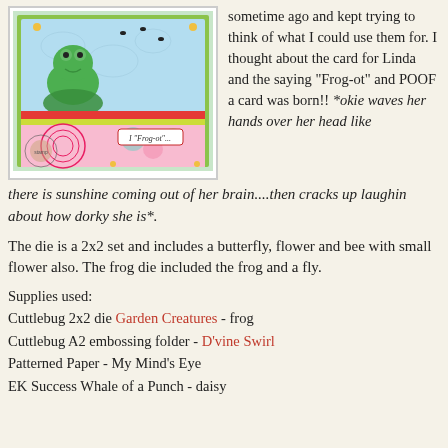[Figure (photo): Handmade greeting card featuring a frog die-cut on patterned paper with embossed background, flies, and a label reading 'I Frog-ot...']
sometime ago and kept trying to think of what I could use them for. I thought about the card for Linda and the saying "Frog-ot" and POOF a card was born!! *okie waves her hands over her head like there is sunshine coming out of her brain....then cracks up laughin about how dorky she is*.
The die is a 2x2 set and includes a butterfly, flower and bee with small flower also. The frog die included the frog and a fly.
Supplies used:
Cuttlebug 2x2 die Garden Creatures - frog
Cuttlebug A2 embossing folder - D'vine Swirl
Patterned Paper - My Mind's Eye
EK Success Whale of a Punch - daisy